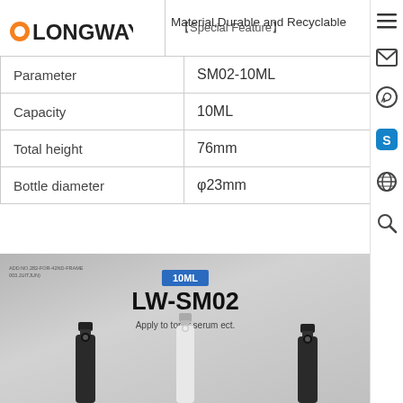[Figure (logo): Longway logo with orange circle O]
【Special Feature】
Material,Durable and Recyclable
| Parameter | SM02-10ML |
| --- | --- |
| Capacity | 10ML |
| Total height | 76mm |
| Bottle diameter | φ23mm |
[Figure (photo): Product photo showing LW-SM02 10ML spray bottles in dark and white variants on grey background with blue 10ML label badge and text: Apply to toner,serum ect.]